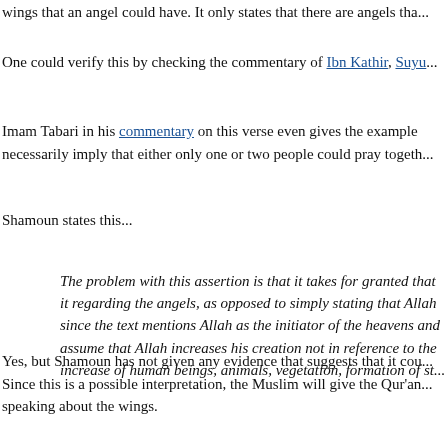wings that an angel could have. It only states that there are angels tha...
One could verify this by checking the commentary of Ibn Kathir, Suyu...
Imam Tabari in his commentary on this verse even gives the example ... necessarily imply that either only one or two people could pray togeth...
Shamoun states this...
The problem with this assertion is that it takes for granted that... it regarding the angels, as opposed to simply stating that Allah... since the text mentions Allah as the initiator of the heavens an... assume that Allah increases his creation not in reference to the... increase of human beings, animals, vegetation, formation of st...
Yes, but Shamoun has not given any evidence that suggests that it cou... Since this is a possible interpretation, the Muslim will give the Qur'an... speaking about the wings.